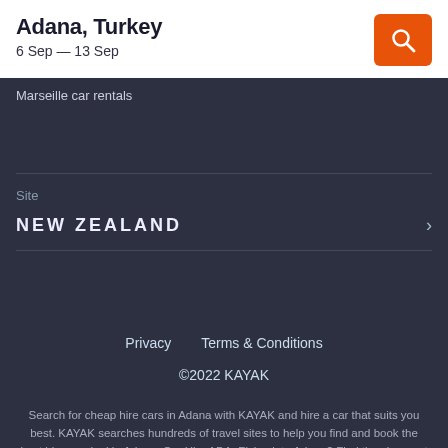Adana, Turkey
6 Sep — 13 Sep
Marseille car rentals
Site
NEW ZEALAND
Privacy
Terms & Conditions
©2022 KAYAK
Search for cheap hire cars in Adana with KAYAK and hire a car that suits you best. KAYAK searches hundreds of travel sites to help you find and book the best hire car deal in Adana. Car Hire ADA: Flying into Adana? Find the cheapest Adana airport car hire now with KAYAK.